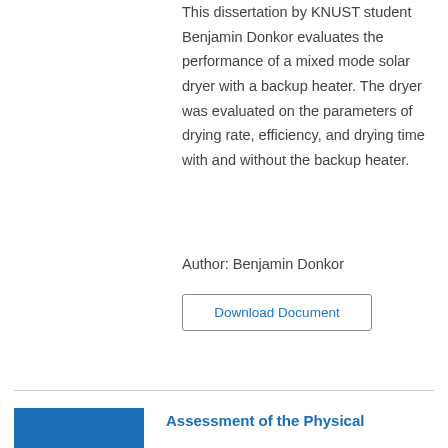This dissertation by KNUST student Benjamin Donkor evaluates the performance of a mixed mode solar dryer with a backup heater. The dryer was evaluated on the parameters of drying rate, efficiency, and drying time with and without the backup heater.
Author: Benjamin Donkor
Download Document
Assessment of the Physical